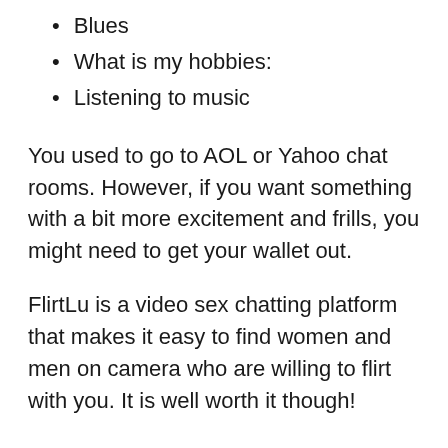Blues
What is my hobbies:
Listening to music
You used to go to AOL or Yahoo chat rooms. However, if you want something with a bit more excitement and frills, you might need to get your wallet out.
FlirtLu is a video sex chatting platform that makes it easy to find women and men on camera who are willing to flirt with you. It is well worth it though!
Chaturbate only shows live models but you can keep track of your favorites, read